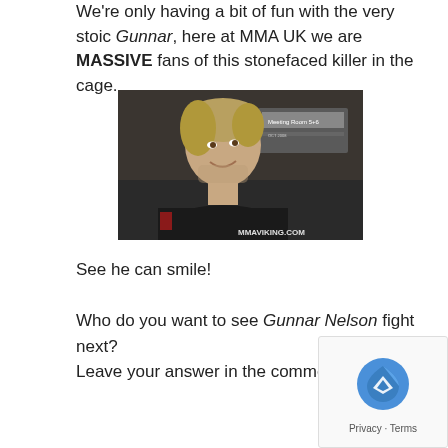We're only having a bit of fun with the very stoic Gunnar, here at MMA UK we are MASSIVE fans of this stonefaced killer in the cage.
[Figure (photo): Photo of Gunnar Nelson smiling, with watermark MMAVIKING.COM in the lower right corner. He is wearing a dark shirt, with a room sign visible in the background.]
See he can smile!
Who do you want to see Gunnar Nelson fight next? Leave your answer in the comments